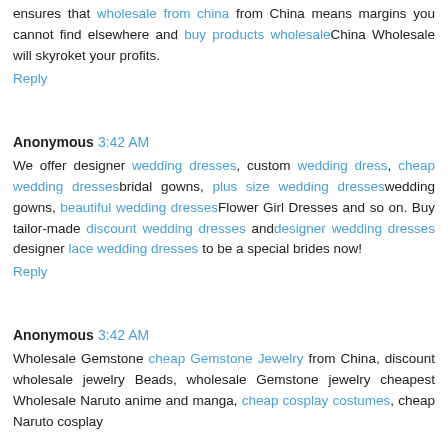ensures that wholesale from china from China means margins you cannot find elsewhere and buy products wholesaleChina Wholesale will skyroket your profits.
Reply
Anonymous 3:42 AM
We offer designer wedding dresses, custom wedding dress, cheap wedding dressesbridal gowns, plus size wedding dresseswedding gowns, beautiful wedding dressesFlower Girl Dresses and so on. Buy tailor-made discount wedding dresses anddesigner wedding dresses designer lace wedding dresses to be a special brides now!
Reply
Anonymous 3:42 AM
Wholesale Gemstone cheap Gemstone Jewelry from China, discount wholesale jewelry Beads, wholesale Gemstone jewelry cheapest Wholesale Naruto anime and manga, cheap cosplay costumes, cheap Naruto cosplay